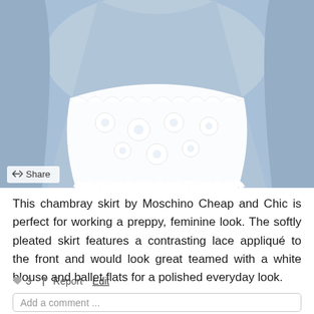[Figure (photo): A chambray skirt by Moschino Cheap and Chic with white lace appliqué on the front, shown from above on a light blue background.]
Share
This chambray skirt by Moschino Cheap and Chic is perfect for working a preppy, feminine look. The softly pleated skirt features a contrasting lace appliqué to the front and would look great teamed with a white blouse and ballet flats for a polished everyday look.
♥ 3   ⚑ Report   Edit
Add a comment ...